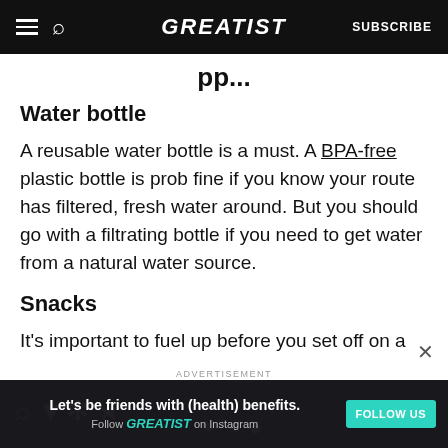GREATIST | SUBSCRIBE
Water bottle
A reusable water bottle is a must. A BPA-free plastic bottle is prob fine if you know your route has filtered, fresh water around. But you should go with a filtrating bottle if you need to get water from a natural water source.
Snacks
It's important to fuel up before you set off on a
ADVERTISEMENT — Let's be friends with (health) benefits. Follow GREATIST on Instagram FOLLOW US